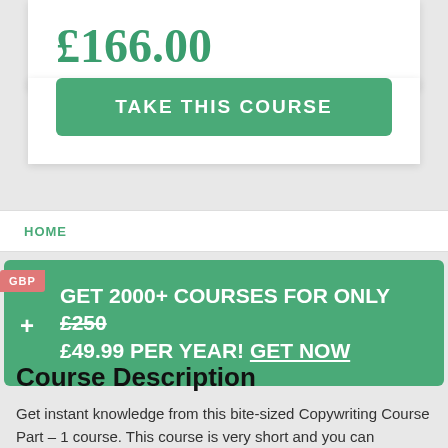£166.00
TAKE THIS COURSE
HOME
GET 2000+ COURSES FOR ONLY £250 £49.99 PER YEAR! GET NOW
Course Description
Get instant knowledge from this bite-sized Copywriting Course Part – 1 course. This course is very short and you can complete it within a very short time.